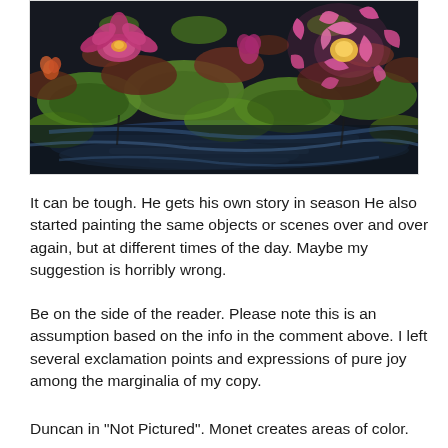[Figure (illustration): An impressionist-style oil painting of water lilies on a pond. Pink water lily flowers bloom among large green lily pads on dark water with blue reflections. The style is reminiscent of Monet's Water Lilies series, with thick painterly strokes.]
It can be tough. He gets his own story in season He also started painting the same objects or scenes over and over again, but at different times of the day. Maybe my suggestion is horribly wrong.
Be on the side of the reader. Please note this is an assumption based on the info in the comment above. I left several exclamation points and expressions of pure joy among the marginalia of my copy.
Duncan in "Not Pictured". Monet creates areas of color.